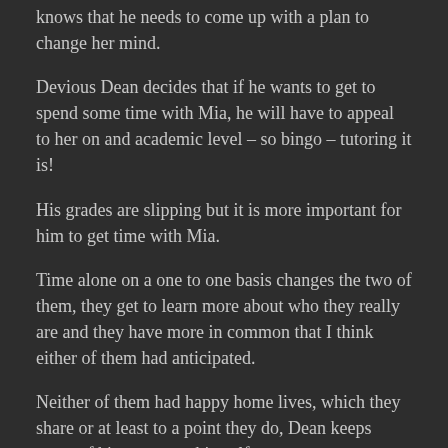knows that he needs to come up with a plan to change her mind.
Devious Dean decides that if he wants to get to spend some time with Mia, he will have to appeal to her on and academic level – so bingo – tutoring it is!
His grades are slipping but it is more important for him to get time with Mia.
Time alone on a one to one basis changes the two of them, they get to learn more about who they really are and they have more in common that I think either of them had anticipated.
Neither of them had happy home lives, which they share or at least to a point they do, Dean keeps some of his secrets to himself.